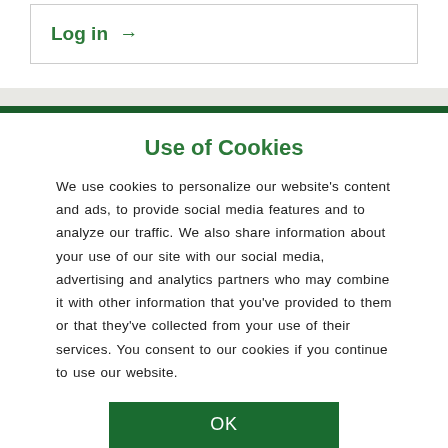Log in →
Use of Cookies
We use cookies to personalize our website's content and ads, to provide social media features and to analyze our traffic. We also share information about your use of our site with our social media, advertising and analytics partners who may combine it with other information that you've provided to them or that they've collected from your use of their services. You consent to our cookies if you continue to use our website.
OK